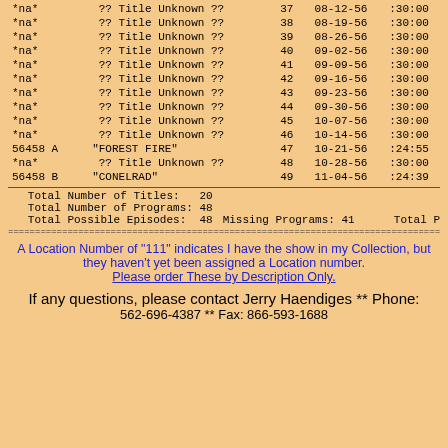| ID | Title | Ep | Date | Duration |
| --- | --- | --- | --- | --- |
| *na* | ?? Title Unknown ?? | 37 | 08-12-56 | :30:00 |
| *na* | ?? Title Unknown ?? | 38 | 08-19-56 | :30:00 |
| *na* | ?? Title Unknown ?? | 39 | 08-26-56 | :30:00 |
| *na* | ?? Title Unknown ?? | 40 | 09-02-56 | :30:00 |
| *na* | ?? Title Unknown ?? | 41 | 09-09-56 | :30:00 |
| *na* | ?? Title Unknown ?? | 42 | 09-16-56 | :30:00 |
| *na* | ?? Title Unknown ?? | 43 | 09-23-56 | :30:00 |
| *na* | ?? Title Unknown ?? | 44 | 09-30-56 | :30:00 |
| *na* | ?? Title Unknown ?? | 45 | 10-07-56 | :30:00 |
| *na* | ?? Title Unknown ?? | 46 | 10-14-56 | :30:00 |
| 56458 A | "FOREST FIRE" | 47 | 10-21-56 | :24:55 |
| *na* | ?? Title Unknown ?? | 48 | 10-28-56 | :30:00 |
| 56458 B | "CONELRAD" | 49 | 11-04-56 | :24:39 |
Total Number of Titles:   20
Total Number of Programs: 48
Total Possible Episodes:  48    Missing Programs: 41    Total P
A Location Number of "111" indicates I have the show in my Collection, but they haven't yet been assigned a Location number. Please order These by Description Only.
If any questions, please contact Jerry Haendiges ** Phone:
562-696-4387 ** Fax: 866-593-1688